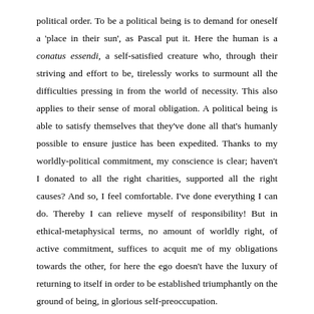political order. To be a political being is to demand for oneself a 'place in their sun', as Pascal put it. Here the human is a conatus essendi, a self-satisfied creature who, through their striving and effort to be, tirelessly works to surmount all the difficulties pressing in from the world of necessity. This also applies to their sense of moral obligation. A political being is able to satisfy themselves that they've done all that's humanly possible to ensure justice has been expedited. Thanks to my worldly-political commitment, my conscience is clear; haven't I donated to all the right charities, supported all the right causes? And so, I feel comfortable. I've done everything I can do. Thereby I can relieve myself of responsibility! But in ethical-metaphysical terms, no amount of worldly right, of active commitment, suffices to acquit me of my obligations towards the other, for here the ego doesn't have the luxury of returning to itself in order to be established triumphantly on the ground of being, in glorious self-preoccupation.
My sense, then, is that these protestors love the 'idea' of justice - that is, justice as a social ideal, which prompts one to write letters to political